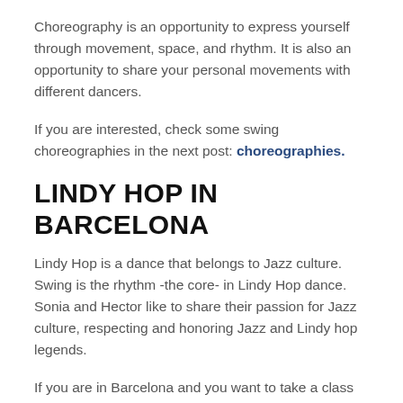Choreography is an opportunity to express yourself through movement, space, and rhythm. It is also an opportunity to share your personal movements with different dancers.
If you are interested, check some swing choreographies in the next post: choreographies.
LINDY HOP IN BARCELONA
Lindy Hop is a dance that belongs to Jazz culture. Swing is the rhythm -the core- in Lindy Hop dance. Sonia and Hector like to share their passion for Jazz culture, respecting and honoring Jazz and Lindy hop legends.
If you are in Barcelona and you want to take a class with Sonia and Hector check out their local classes.